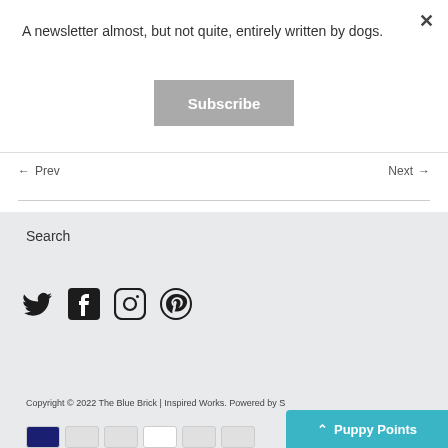A newsletter almost, but not quite, entirely written by dogs.
Subscribe
← Prev
Next →
Search
[Figure (illustration): Social media icons: Twitter bird, Facebook F, Instagram camera, Pinterest P]
Copyright © 2022 The Blue Brick | Inspired Works. Powered by S
Puppy Points